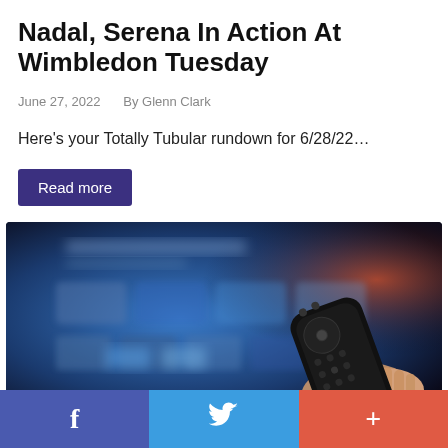Nadal, Serena In Action At Wimbledon Tuesday
June 27, 2022   By Glenn Clark
Here's your Totally Tubular rundown for 6/28/22…
Read more
[Figure (photo): Person holding a TV remote control pointed at a blurry smart TV screen showing streaming menu interface]
Facebook share | Twitter share | More